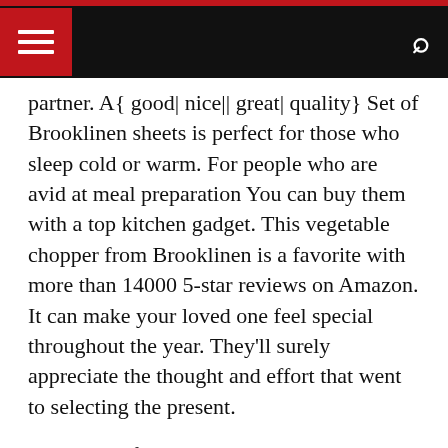[Navigation bar with hamburger menu and search icon]
partner. A{ good| nice|| great| quality} Set of Brooklinen sheets is perfect for those who sleep cold or warm. For people who are avid at meal preparation You can buy them with a top kitchen gadget. This vegetable chopper from Brooklinen is a favorite with more than 14000 5-star reviews on Amazon. It can make your loved one feel special throughout the year. They'll surely appreciate the thought and effort that went to selecting the present.
A new set of bedding will always be enjoyed by those you love. A new set of sheets will allow your loved ones to get a good night's rest. It's also a wonderful idea to present an edgy pair of shoes for your spouse. A good pair of shoes can make an excellent Valentine's present to your partner. A pair of Converse shoes is a perfect